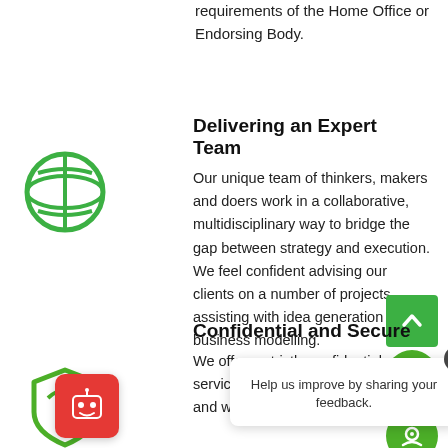requirements of the Home Office or Endorsing Body.
Delivering an Expert Team
Our unique team of thinkers, makers and doers work in a collaborative, multidisciplinary way to bridge the gap between strategy and execution. We feel confident advising our clients on a number of projects, assisting with idea generation or business modelling.
Confidential and Secure
We offer a strictly confidential service, our team is here to help you and we are fully insured.
Help us improve by sharing your feedback.